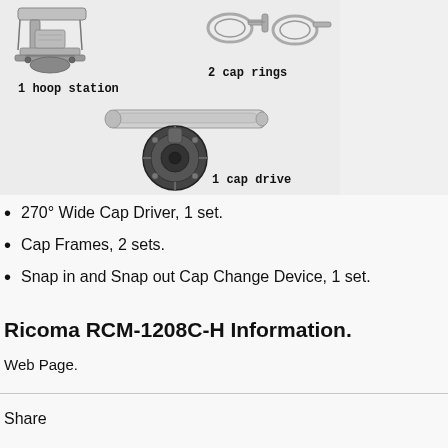[Figure (photo): Product components illustration: hoop station (top left), 2 cap rings (top right), and 1 cap drive (bottom center) for embroidery machine cap attachment system. Labels in monospace font: '1 hoop station', '2 cap rings', '1 cap drive'.]
270° Wide Cap Driver, 1 set.
Cap Frames, 2 sets.
Snap in and Snap out Cap Change Device, 1 set.
Ricoma RCM-1208C-H Information.
Web Page.
Share